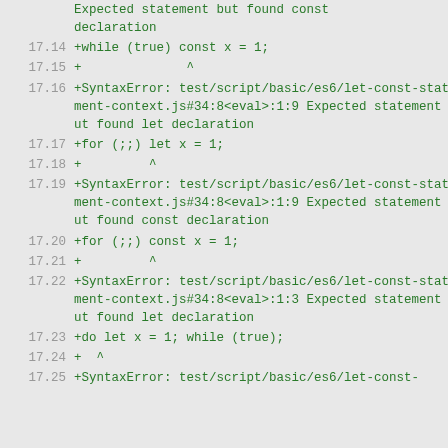17.14  +while (true) const x = 1;
17.15  +              ^
17.16  +SyntaxError: test/script/basic/es6/let-const-statement-context.js#34:8<eval>:1:9 Expected statement but found let declaration
17.17  +for (;;) let x = 1;
17.18  +         ^
17.19  +SyntaxError: test/script/basic/es6/let-const-statement-context.js#34:8<eval>:1:9 Expected statement but found const declaration
17.20  +for (;;) const x = 1;
17.21  +         ^
17.22  +SyntaxError: test/script/basic/es6/let-const-statement-context.js#34:8<eval>:1:3 Expected statement but found let declaration
17.23  +do let x = 1; while (true);
17.24  +  ^
17.25  +SyntaxError: test/script/basic/es6/let-const-